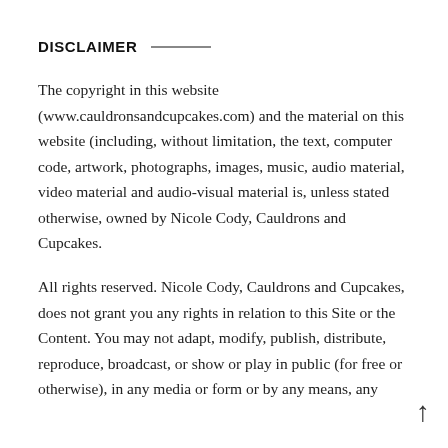DISCLAIMER
The copyright in this website (www.cauldronsandcupcakes.com) and the material on this website (including, without limitation, the text, computer code, artwork, photographs, images, music, audio material, video material and audio-visual material is, unless stated otherwise, owned by Nicole Cody, Cauldrons and Cupcakes.
All rights reserved. Nicole Cody, Cauldrons and Cupcakes, does not grant you any rights in relation to this Site or the Content. You may not adapt, modify, publish, distribute, reproduce, broadcast, or show or play in public (for free or otherwise), in any media or form or by any means, any